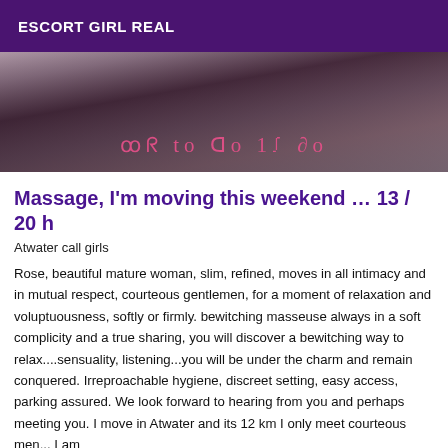ESCORT GIRL REAL
[Figure (photo): A photograph of a bed with patterned sheets and a metallic lamp/ornament, with pink handwritten-style text overlaid showing phone numbers or symbols.]
Massage, I'm moving this weekend … 13 / 20 h
Atwater call girls
Rose, beautiful mature woman, slim, refined, moves in all intimacy and in mutual respect, courteous gentlemen, for a moment of relaxation and voluptuousness, softly or firmly. bewitching masseuse always in a soft complicity and a true sharing, you will discover a bewitching way to relax....sensuality, listening...you will be under the charm and remain conquered. Irreproachable hygiene, discreet setting, easy access, parking assured. We look forward to hearing from you and perhaps meeting you. I move in Atwater and its 12 km I only meet courteous men... I am